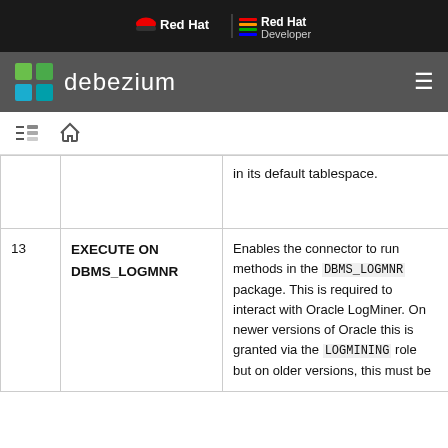Red Hat | Red Hat Developer
debezium
| # | Permission | Description |
| --- | --- | --- |
|  |  | in its default tablespace. |
| 13 | EXECUTE ON DBMS_LOGMNR | Enables the connector to run methods in the DBMS_LOGMNR package. This is required to interact with Oracle LogMiner. On newer versions of Oracle this is granted via the LOGMINING role but on older versions, this must be |